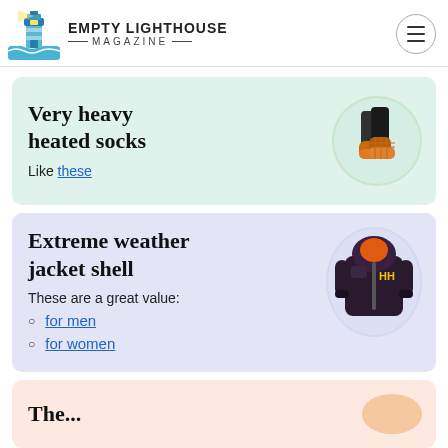EMPTY LIGHTHOUSE MAGAZINE
Very heavy heated socks
Like these
[Figure (photo): Black and orange heated socks product photo on circular background]
Extreme weather jacket shell
These are a great value:
for men
for women
[Figure (photo): Dark purple/black Helly Hansen extreme weather jacket shell on circular background]
The...